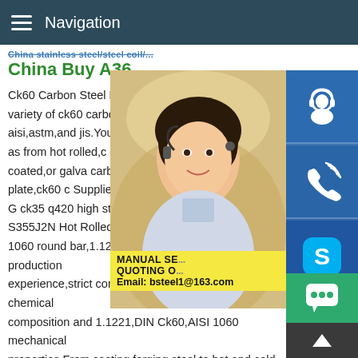Navigation
China Buy A36
Ck60 Carbon Steel Plate,Ck60 Carbon Steel wide variety of ck60 carbon steel plate opt you,such as aisi,astm,and jis.You can also plate,steel coil.As well as from hot rolled,c ck60 carbon steel plate is coated,or galva carbon steelck60 carbon steel plate,ck60 c Suppliers Q420B low carbon alloy plate G ck35 q420 high strength steel plate US $5 S355 S355J2N Hot RolledUser rating 5/51... 1060 round bar,1.1221,DIN Ck60 With DuoNian production experience,strict control 1.1221,DIN Ck60,AISI 1060 chemical composition and 1.1221,DIN Ck60,AISI 1060 mechanical properties.From casting,forging,steel to hot and cold rolling process,heat treatment,etc,we have the control of professional
[Figure (photo): Woman with headset smiling, customer service representative]
[Figure (infographic): Blue sidebar with customer service icons: headset, phone, Skype logo]
MANUAL SE... QUOTING O... Email: bsteel1@163.com